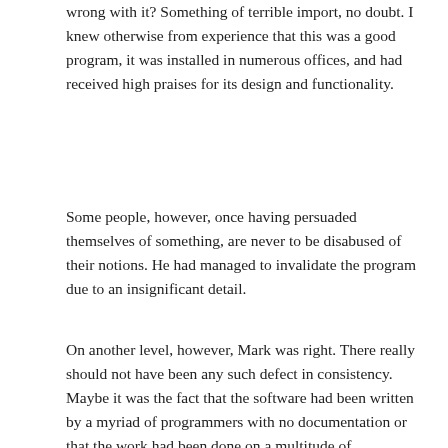wrong with it? Something of terrible import, no doubt. I knew otherwise from experience that this was a good program, it was installed in numerous offices, and had received high praises for its design and functionality.
Some people, however, once having persuaded themselves of something, are never to be disabused of their notions. He had managed to invalidate the program due to an insignificant detail.
On another level, however, Mark was right. There really should not have been any such defect in consistency. Maybe it was the fact that the software had been written by a myriad of programmers with no documentation or that the work had been done on a multitude of driverless-component clone computers that booted erratically on suspect parts.
Advertisements
[Figure (infographic): Tumblr Ad-Free Browsing advertisement banner showing $39.99 a year or $4.99 a month]